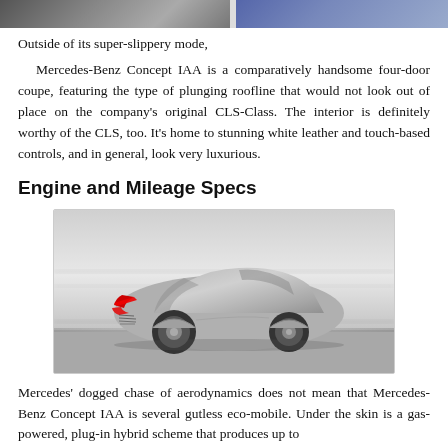[Figure (photo): Top portion of two car photos cropped at top of page]
Outside of its super-slippery mode,
Mercedes-Benz Concept IAA is a comparatively handsome four-door coupe, featuring the type of plunging roofline that would not look out of place on the company's original CLS-Class. The interior is definitely worthy of the CLS, too. It's home to stunning white leather and touch-based controls, and in general, look very luxurious.
Engine and Mileage Specs
[Figure (photo): Rear three-quarter view of the silver Mercedes-Benz Concept IAA driving on a road, showing distinctive red-accented tail lights and aerodynamic body]
Mercedes' dogged chase of aerodynamics does not mean that Mercedes-Benz Concept IAA is several gutless eco-mobile. Under the skin is a gas-powered, plug-in hybrid scheme that produces up to